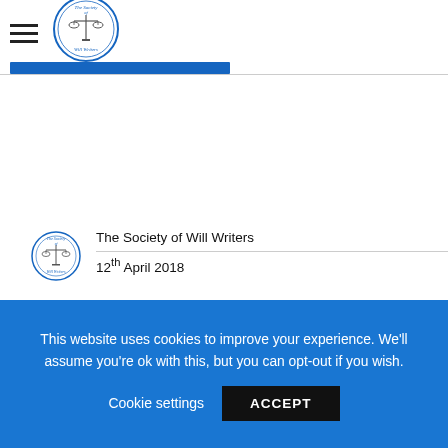The Society of Will Writers
[Figure (logo): The Society of Will Writers circular logo with scales of justice motif]
The Society of Will Writers
12th April 2018
[Figure (photo): Article banner image with bold text 'DON'T TALK TO ME ABOUT' and a red prohibition circle sign below on a grey gradient background]
This website uses cookies to improve your experience. We'll assume you're ok with this, but you can opt-out if you wish.
Cookie settings   ACCEPT